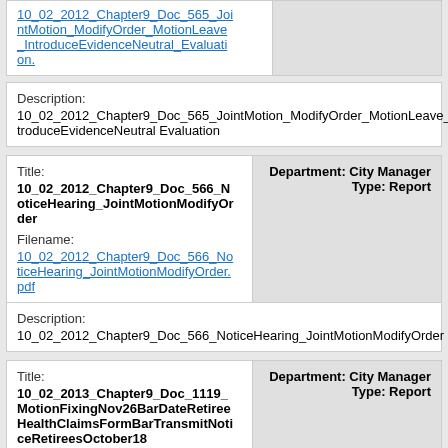10_02_2012_Chapter9_Doc_565_JointMotion_ModifyOrder_MotionLeave_IntroduceEvidenceNeutral_Evaluation. (link) | Description: 10_02_2012_Chapter9_Doc_565_JointMotion_ModifyOrder_MotionLeave_IntroduceEvidenceNeutral Evaluation
Title: 10_02_2012_Chapter9_Doc_566_NoticeHearing_JointMotionModifyOrder | Filename: 10_02_2012_Chapter9_Doc_566_NoticeHearing_JointMotionModifyOrder.pdf | Department: City Manager | Type: Report
Description: 10_02_2012_Chapter9_Doc_566_NoticeHearing_JointMotionModifyOrder
Title: 10_02_2013_Chapter9_Doc_1119_MotionFixingNov26BarDateRetireeHealthClaimsFormBarTransmitNoticeRetireesOctober18 | Department: City Manager | Type: Report